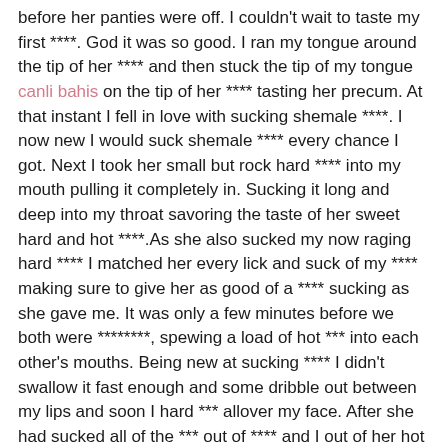before her panties were off. I couldn't wait to taste my first ****. God it was so good. I ran my tongue around the tip of her **** and then stuck the tip of my tongue canli bahis on the tip of her **** tasting her precum. At that instant I fell in love with sucking shemale ****. I now new I would suck shemale **** every chance I got. Next I took her small but rock hard **** into my mouth pulling it completely in. Sucking it long and deep into my throat savoring the taste of her sweet hard and hot ****.As she also sucked my now raging hard **** I matched her every lick and suck of my **** making sure to give her as good of a **** sucking as she gave me. It was only a few minutes before we both were ********, spewing a load of hot *** into each other's mouths. Being new at sucking **** I didn't swallow it fast enough and some dribble out between my lips and soon I hard *** allover my face. After she had sucked all of the *** out of **** and I out of her hot **** we turned around so we could kiss and lick our *** off of each others face, so I tasted hot only her *** but my own for the very first time. If I had know how much I would love sucking shemale **** I would have become a **** sucker years before.It wasn't long before I had her legs over my shoulder so I could lick her tight hot ***-**** getting it